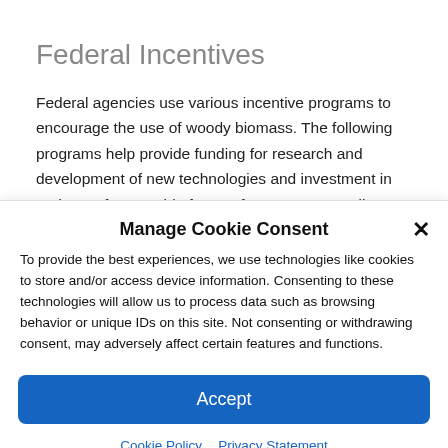Federal Incentives
Federal agencies use various incentive programs to encourage the use of woody biomass. The following programs help provide funding for research and development of new technologies and investment in and use of renewable forms of energy. Tax credits are
Manage Cookie Consent
To provide the best experiences, we use technologies like cookies to store and/or access device information. Consenting to these technologies will allow us to process data such as browsing behavior or unique IDs on this site. Not consenting or withdrawing consent, may adversely affect certain features and functions.
Accept
Cookie Policy  Privacy Statement